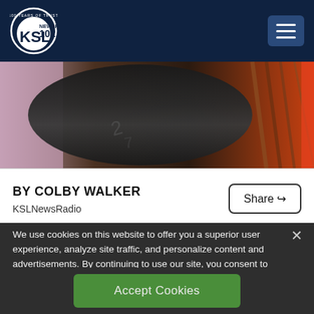KSL NewsRadio 102.7 FM
[Figure (photo): Close-up photo of a dark metallic cylindrical object, possibly a bourbon barrel or wine barrel, with scratched surface markings, warm reddish-brown background]
BY COLBY WALKER
KSLNewsRadio
Share
We use cookies on this website to offer you a superior user experience, analyze site traffic, and personalize content and advertisements. By continuing to use our site, you consent to our use of cookies. Please visit our Privacy Policy for more information.
Accept Cookies